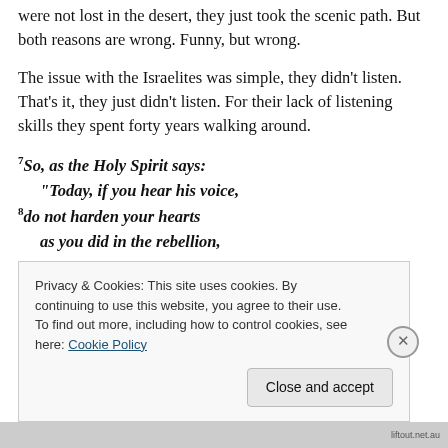were not lost in the desert, they just took the scenic path. But both reasons are wrong. Funny, but wrong.
The issue with the Israelites was simple, they didn't listen. That's it, they just didn't listen. For their lack of listening skills they spent forty years walking around.
7So, as the Holy Spirit says:
    "Today, if you hear his voice,
8do not harden your hearts
    as you did in the rebellion,
        during the time of testing in the desert,
Privacy & Cookies: This site uses cookies. By continuing to use this website, you agree to their use.
To find out more, including how to control cookies, see here: Cookie Policy
Close and accept